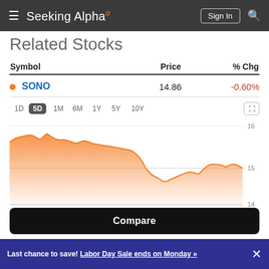Seeking Alpha
Related Stocks
| Symbol | Price | % Chg |
| --- | --- | --- |
| ● SONO | 14.86 | -0.60% |
[Figure (area-chart): SONO 5D price chart]
Compare
Last chance to save! Labor Day Sale ends on Monday »